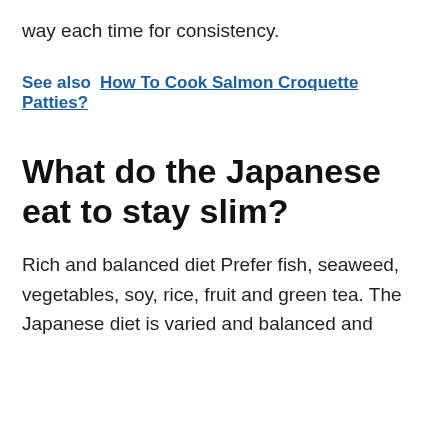way each time for consistency.
See also  How To Cook Salmon Croquette Patties?
What do the Japanese eat to stay slim?
Rich and balanced diet Prefer fish, seaweed, vegetables, soy, rice, fruit and green tea. The Japanese diet is varied and balanced and